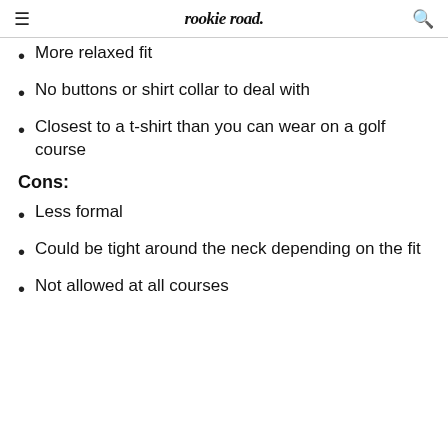rookie road
More relaxed fit
No buttons or shirt collar to deal with
Closest to a t-shirt than you can wear on a golf course
Cons:
Less formal
Could be tight around the neck depending on the fit
Not allowed at all courses